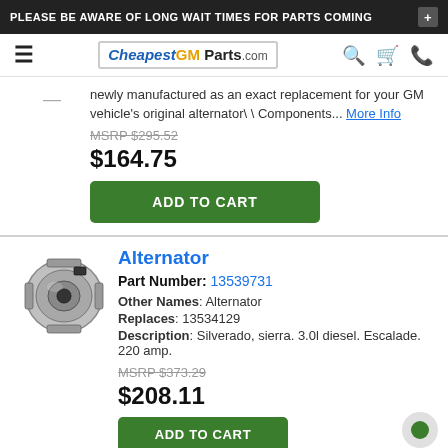PLEASE BE AWARE OF LONG WAIT TIMES FOR PARTS COMING
[Figure (logo): CheapestGMParts.com logo with navigation icons]
newly manufactured as an exact replacement for your GM vehicle's original alternator\ \ Components... More Info
MSRP $295.52
$164.75
ADD TO CART
Alternator
Part Number: 13539731
Other Names: Alternator
Replaces: 13534129
Description: Silverado, sierra. 3.0l diesel. Escalade. 220 amp.
MSRP $373.29
$208.11